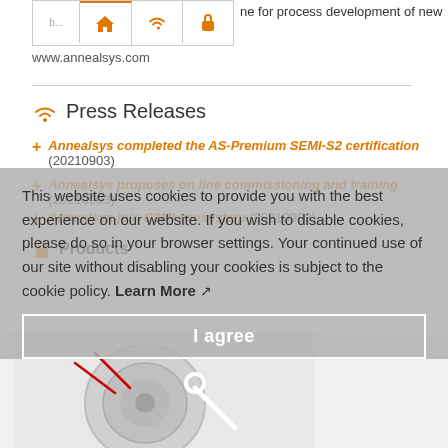[Figure (screenshot): Navigation bar with home, wifi, and lock icons, partially cut off at top]
www.annealsys.com
Press Releases
Annealsys completed the AS-Premium SEMI-S2 certification (20210903)
Annealsys proposes on line commissioning and training (20210903)
Annealsys join C2MI ecosystem (20210903)
Products
This website uses cookies to provide you with the best experience on our website. If you wish to disable cookies, please do so in your browser settings. Your continued use of our site without disabling your cookies is subject to the cookie policy. Learn More
[Figure (photo): Product image of a circular device with red wires, partially visible at bottom of page]